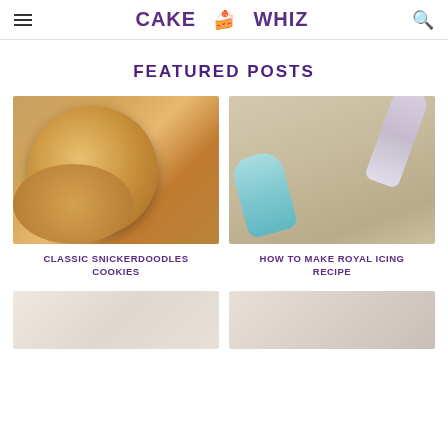CAKE WHIZ
FEATURED POSTS
[Figure (photo): Stack of golden snickerdoodle cookies on a plate]
CLASSIC SNICKERDOODLES COOKIES
[Figure (photo): Piping bags with royal icing on a brown paper background]
HOW TO MAKE ROYAL ICING RECIPE
[Figure (photo): Partially visible bottom-left featured post image]
[Figure (photo): Partially visible bottom-right featured post image]